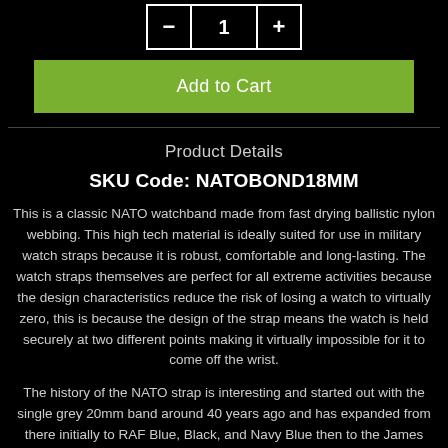[Figure (other): Quantity selector with minus button, quantity input showing 1, and plus button]
[Figure (other): Green Add to Cart button]
Product Details
SKU Code: NATOBOND18MM
This is a classic NATO watchband made from fast drying ballistic nylon webbing. This high tech material is ideally suited for use in military watch straps because it is robust, comfortable and long-lasting. The watch straps themselves are perfect for all extreme activities because the design characteristics reduce the risk of losing a watch to virtually zero, this is because the design of the strap means the watch is held securely at two different points making it virtually impossible for it to come off the wrist.
The history of the NATO strap is interesting and started out with the single grey 20mm band around 40 years ago and has expanded from there initially to RAF Blue, Black, and Navy Blue then to the James Bond